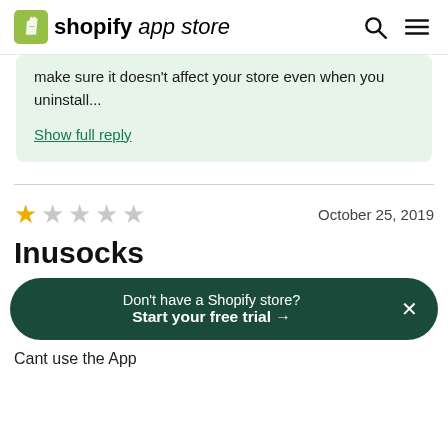shopify app store
make sure it doesn't affect your store even when you uninstall...
Show full reply
★☆☆☆☆  October 25, 2019
Inusocks
Don't have a Shopify store? Start your free trial →
Cant use the App